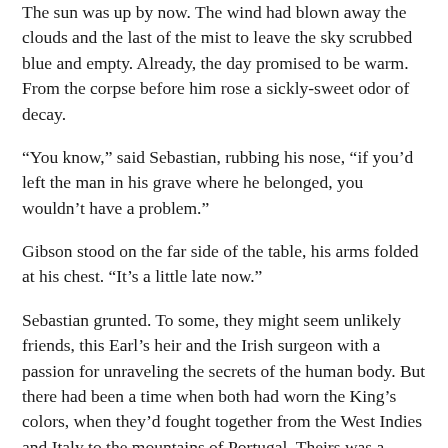The sun was up by now. The wind had blown away the clouds and the last of the mist to leave the sky scrubbed blue and empty. Already, the day promised to be warm. From the corpse before him rose a sickly-sweet odor of decay.
“You know,” said Sebastian, rubbing his nose, “if you’d left the man in his grave where he belonged, you wouldn’t have a problem.”
Gibson stood on the far side of the table, his arms folded at his chest. “It’s a little late now.”
Sebastian grunted. To some, they might seem unlikely friends, this Earl’s heir and the Irish surgeon with a passion for unraveling the secrets of the human body. But there had been a time when both had worn the King’s colors, when they’d fought together from the West Indies and Italy to the mountains of Portugal. Theirs was a friendship forged in all the horrors of blood and mud and looming death. Now, they shared a dedication to truth and a passionate anger at the wanton, selfish destruction of one human being by another.
Gibson scrubbed a hand across his lower face. “It’s not like I